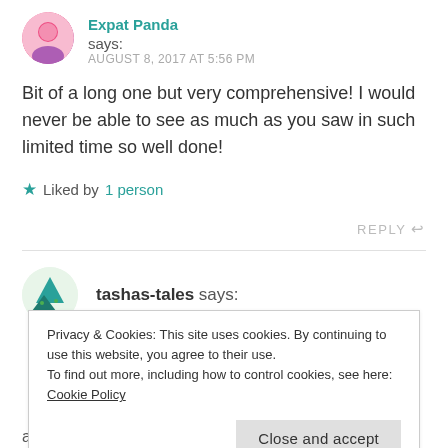Expat Panda says: AUGUST 8, 2017 AT 5:56 PM
Bit of a long one but very comprehensive! I would never be able to see as much as you saw in such limited time so well done!
★ Liked by 1 person
REPLY ↩
tashas-tales says:
Privacy & Cookies: This site uses cookies. By continuing to use this website, you agree to their use.
To find out more, including how to control cookies, see here: Cookie Policy
Close and accept
am still recovering from how intense it was!